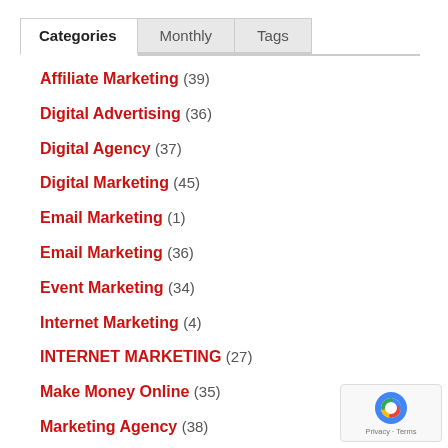Categories | Monthly | Tags
Affiliate Marketing (39)
Digital Advertising (36)
Digital Agency (37)
Digital Marketing (45)
Email Marketing (1)
Email Marketing (36)
Event Marketing (34)
Internet Marketing (4)
INTERNET MARKETING (27)
Make Money Online (35)
Marketing Agency (38)
[Figure (logo): reCAPTCHA badge with Privacy and Terms text]